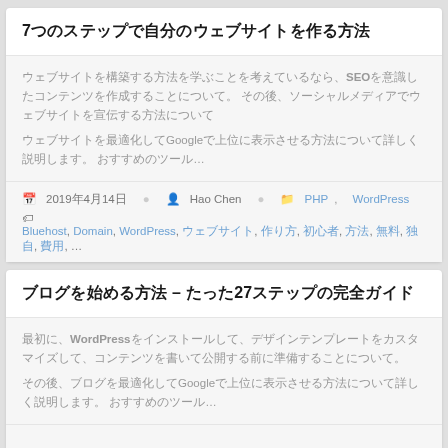7つのステップで自分のウェブサイトを作る方法
ウェブサイトを構築する方法を学ぶことを考えているなら、SEOを意識したコンテンツを作成することについて。 その後、ソーシャルメディアでウェブサイトを宣伝する方法について…
2019年4月14日　Hao Chen　PHP, WordPress
Bluehost, Domain, WordPress, ウェブサイト, 作り方, 初心者, 方法, 無料, 独自, 費用, …
WordPressでブログを始める方法 – たった27のステップで完全ガイド
最初に、WordPressをインストールして、デザインテンプレートをカスタマイズして、コンテンツを書いて公開する前に準備することについて。 その後、ブログを宣伝する…